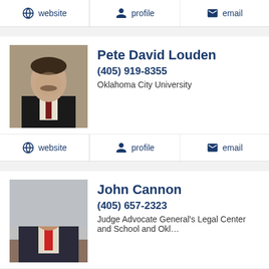website | profile | email
Pete David Louden
(405) 919-8355
Oklahoma City University
website | profile | email
John Cannon
(405) 657-2323
Judge Advocate General's Legal Center and School and Okl...
website | profile | email
[Figure (photo): Partial photo of Matt (surname cut off)]